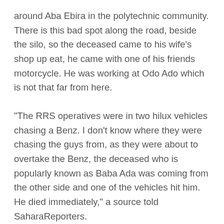around Aba Ebira in the polytechnic community. There is this bad spot along the road, beside the silo, so the deceased came to his wife’s shop up eat, he came with one of his friends motorcycle. He was working at Odo Ado which is not that far from here.
“The RRS operatives were in two hilux vehicles chasing a Benz. I don’t know where they were chasing the guys from, as they were about to overtake the Benz, the deceased who is popularly known as Baba Ada was coming from the other side and one of the vehicles hit him. He died immediately,” a source told SaharaReporters.
A colleague of the deceased who spoke to SaharaReporters confirmed the incident.